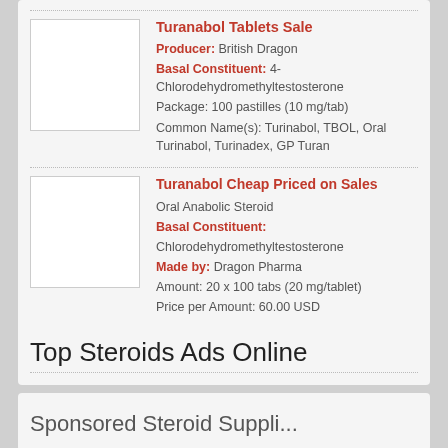Turanabol Tablets Sale
Producer: British Dragon
Basal Constituent: 4-Chlorodehydromethyltestosterone
Package: 100 pastilles (10 mg/tab)
Common Name(s): Turinabol, TBOL, Oral Turinabol, Turinadex, GP Turan
Turanabol Cheap Priced on Sales
Oral Anabolic Steroid
Basal Constituent: Chlorodehydromethyltestosterone
Made by: Dragon Pharma
Amount: 20 x 100 tabs (20 mg/tablet)
Price per Amount: 60.00 USD
Top Steroids Ads Online
Sponsored Steroid Suppliers